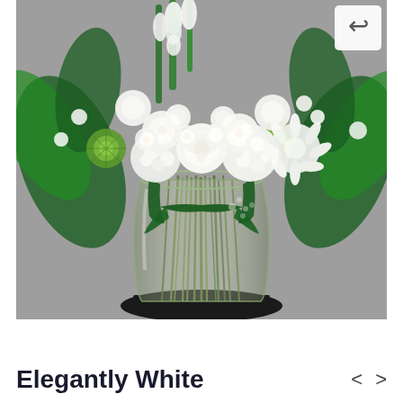[Figure (photo): A large floral arrangement in a clear glass vase featuring white roses, white hydrangeas, white dahlias, green spider mums, white snapdragons, and lush green foliage with a dark green leaf wrap around the vase, placed on a black base against a gray background.]
Elegantly White